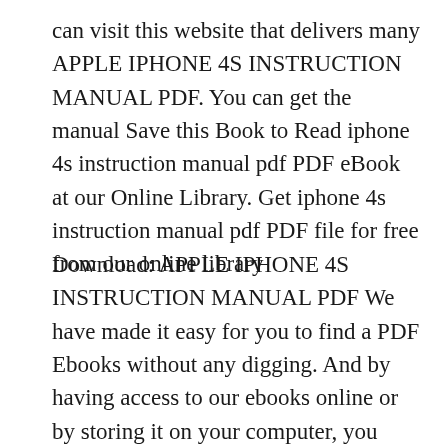can visit this website that delivers many APPLE IPHONE 4S INSTRUCTION MANUAL PDF. You can get the manual Save this Book to Read iphone 4s instruction manual pdf PDF eBook at our Online Library. Get iphone 4s instruction manual pdf PDF file for free from our online library
Download: APPLE IPHONE 4S INSTRUCTION MANUAL PDF We have made it easy for you to find a PDF Ebooks without any digging. And by having access to our ebooks online or by storing it on your computer, you have convenient answers with apple iphone 4s instruction manual PDF. To get started finding apple iphone 4s instruction manual, you are right to find our